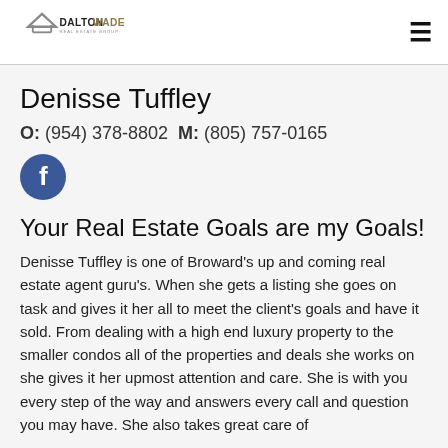Dalton Wade Real Estate Group
Denisse Tuffley
O: (954) 378-8802 M: (805) 757-0165
[Figure (logo): Facebook social icon circle]
Your Real Estate Goals are my Goals!
Denisse Tuffley is one of Broward's up and coming real estate agent guru's. When she gets a listing she goes on task and gives it her all to meet the client's goals and have it sold. From dealing with a high end luxury property to the smaller condos all of the properties and deals she works on she gives it her upmost attention and care. She is with you every step of the way and answers every call and question you may have. She also takes great care of